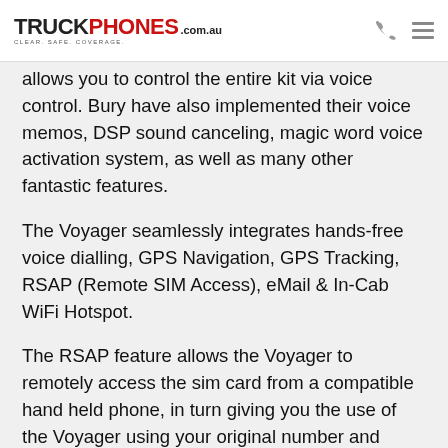TRUCKPHONES.com.au — CLEAR. SAFE. COVERAGE.
allows you to control the entire kit via voice control. Bury have also implemented their voice memos, DSP sound canceling, magic word voice activation system, as well as many other fantastic features.
The Voyager seamlessly integrates hands-free voice dialling, GPS Navigation, GPS Tracking, RSAP (Remote SIM Access), eMail & In-Cab WiFi Hotspot.
The RSAP feature allows the Voyager to remotely access the sim card from a compatible hand held phone, in turn giving you the use of the Voyager using your original number and phone plan, without having to swap the sim card. It effectively gives you 2 phones on one number. The benefits are reduced costs, the simplicity of having two